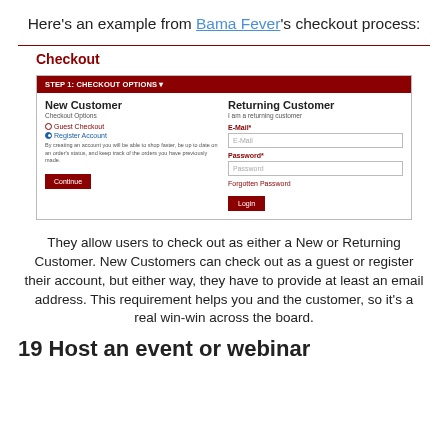Here's an example from Bama Fever's checkout process:
Checkout
[Figure (screenshot): Screenshot of a checkout page from Bama Fever showing a two-column layout: New Customer section on the left with Guest Checkout and Register Account radio options and a Continue button; Returning Customer section on the right with E-Mail and Password fields, Forgotten Password link, and Login button. Header reads 'STEP 1: CHECKOUT OPTIONS'.]
They allow users to check out as either a New or Returning Customer. New Customers can check out as a guest or register their account, but either way, they have to provide at least an email address. This requirement helps you and the customer, so it's a real win-win across the board.
19  Host an event or webinar